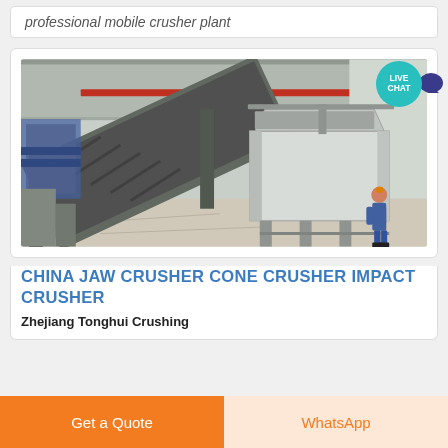professional mobile crusher plant
[Figure (photo): Industrial crusher plant equipment inside a large warehouse/factory building. Shows a conveyor belt system at an angle and a large hopper/feeder unit. A worker in blue coveralls and orange hard hat stands near the equipment.]
CHINA JAW CRUSHER CONE CRUSHER IMPACT CRUSHER
Zhejiang Tonghui Crushing
Get a Quote
WhatsApp